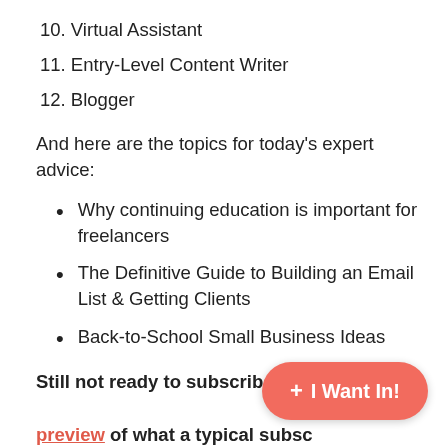10. Virtual Assistant
11. Entry-Level Content Writer
12. Blogger
And here are the topics for today's expert advice:
Why continuing education is important for freelancers
The Definitive Guide to Building an Email List & Getting Clients
Back-to-School Small Business Ideas
Still not ready to subscribe? Check out a free preview of what a typical subscriber newsletter looks like.